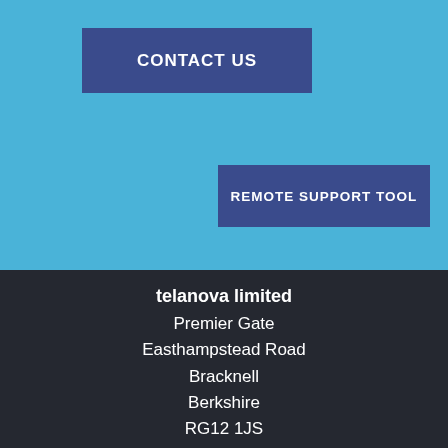CONTACT US
REMOTE SUPPORT TOOL
telanova limited
Premier Gate
Easthampstead Road
Bracknell
Berkshire
RG12 1JS